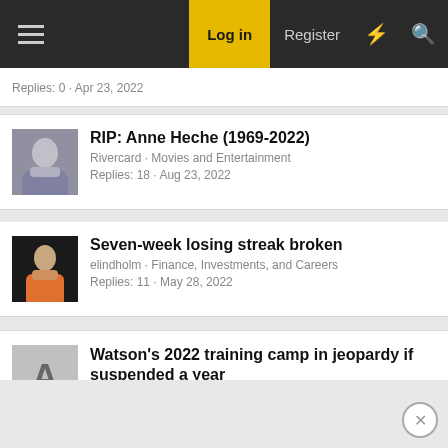Log in | Register
Replies: 0 · Apr 23, 2022
RIP: Anne Heche (1969-2022)
Rivercard · Movies and Entertainment
Replies: 18 · Aug 23, 2022
Seven-week losing streak broken
elindholm · Finance, Investments, and Careers
Replies: 11 · May 28, 2022
Watson's 2022 training camp in jeopardy if suspended a year
ASFN Admin · National and World Sports News Feeds
Replies: 0 · Jul 18, 2022